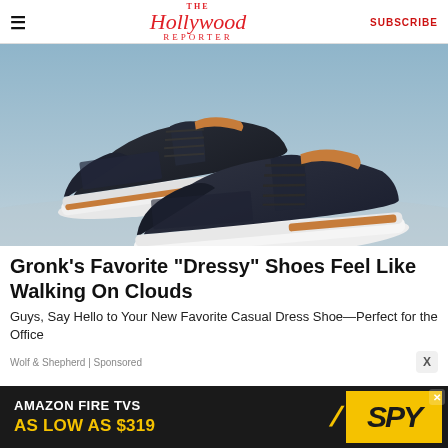The Hollywood Reporter | SUBSCRIBE
[Figure (photo): Two dark navy blue knit dress sneakers with tan leather accents and white soles, photographed on a light blue sandy surface.]
Gronk's Favorite "Dressy" Shoes Feel Like Walking On Clouds
Guys, Say Hello to Your New Favorite Casual Dress Shoe—Perfect for the Office
Wolf & Shepherd | Sponsored
[Figure (screenshot): Advertisement banner: AMAZON FIRE TVS AS LOW AS $319 with SPY logo on yellow background.]